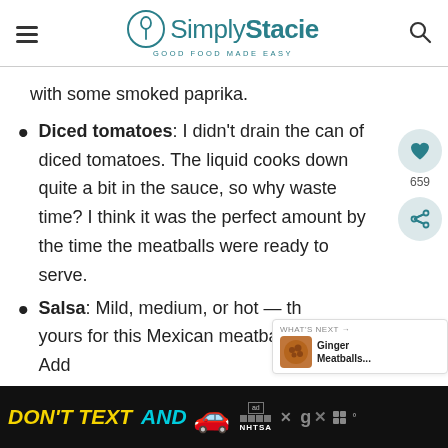Simply Stacie — GOOD FOOD MADE EASY
with some smoked paprika.
Diced tomatoes: I didn't drain the can of diced tomatoes. The liquid cooks down quite a bit in the sauce, so why waste time? I think it was the perfect amount by the time the meatballs were ready to serve.
Salsa: Mild, medium, or hot — th... yours for this Mexican meatball sauce. Add
DON'T TEXT AND [car emoji] ad NHTSA